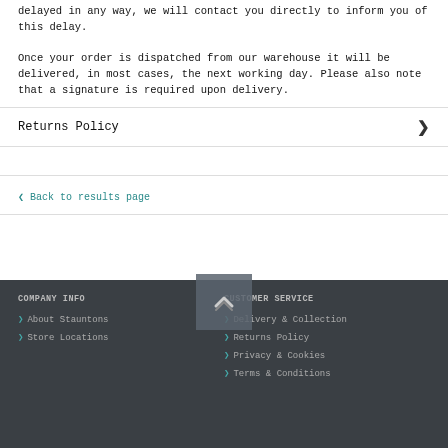delayed in any way, we will contact you directly to inform you of this delay.
Once your order is dispatched from our warehouse it will be delivered, in most cases, the next working day. Please also note that a signature is required upon delivery.
Returns Policy
Back to results page
COMPANY INFO | About Stauntons | Store Locations | CUSTOMER SERVICE | Delivery & Collection | Returns Policy | Privacy & Cookies | Terms & Conditions